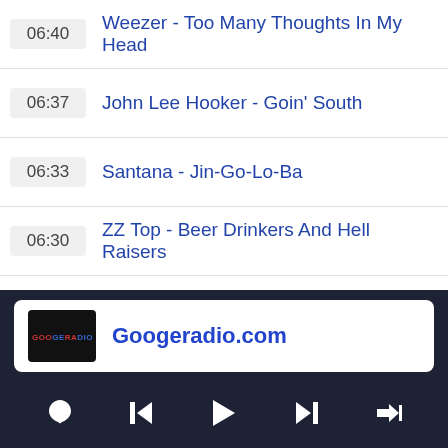06:40  Weezer - Too Many Thoughts In My Head
06:37  John Lee Hooker - Goin' South
06:33  Santana - Jin-Go-Lo-Ba
06:30  ZZ Top - Beer Drinkers And Hell Raisers
06:26  Aldous Harding - Fever
06:22  AWOLNATION - The Best
06:17  Cat Power - Woman (feat. Lana Del Ray)
[Figure (logo): Googeradio.com station logo - black background with colored text GOOGERADIO]
Googeradio.com